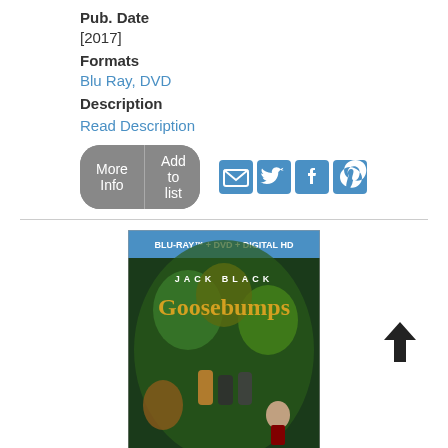Pub. Date
[2017]
Formats
Blu Ray, DVD
Description
Read Description
More Info   Add to list
[Figure (illustration): Goosebumps Blu-ray + DVD + Digital HD movie cover featuring Jack Black surrounded by monsters with text 'A frightfully fun flick for families.']
☆☆☆☆☆
3)  Goosebumps
Formats